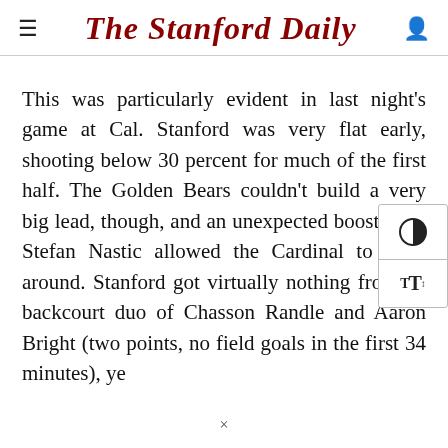The Stanford Daily
This was particularly evident in last night's game at Cal. Stanford was very flat early, shooting below 30 percent for much of the first half. The Golden Bears couldn't build a very big lead, though, and an unexpected boost from Stefan Nastic allowed the Cardinal to hang around. Stanford got virtually nothing from its backcourt duo of Chasson Randle and Aaron Bright (two points, no field goals in the first 34 minutes), yet the Cardinal actually took the lead in the second